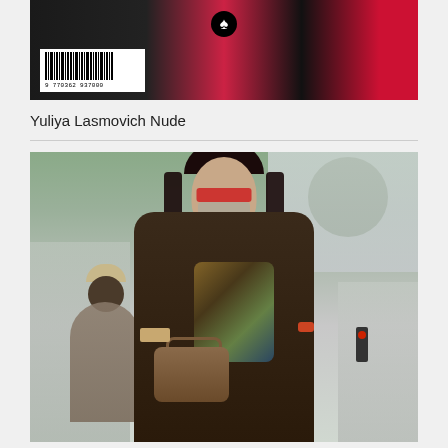[Figure (photo): Top portion of a Playboy magazine cover showing a woman in black outfit with red shoes and a barcode, partially cropped]
Yuliya Lasmovich Nude
[Figure (photo): Street photo of a woman wearing red glasses, a beige face mask, dark brown leather jacket, colorful printed dress/scarf, carrying a brown Fendi bag with bracelets, crossing a street. A man in a beige hat and brown jacket is visible in the background on the left, and a red traffic light is visible on the right.]